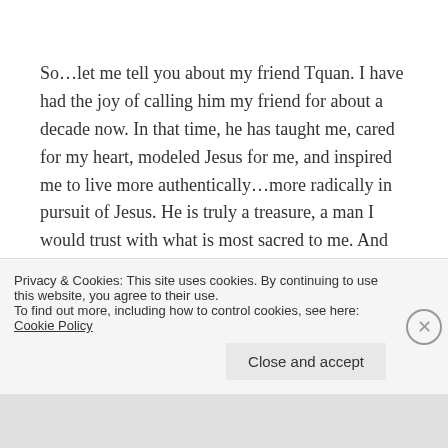So…let me tell you about my friend Tquan. I have had the joy of calling him my friend for about a decade now. In that time, he has taught me, cared for my heart, modeled Jesus for me, and inspired me to live more authentically…more radically in pursuit of Jesus. He is truly a treasure, a man I would trust with what is most sacred to me. And on top of all of that, he is simply the coolest person I think I have ever known. He just has this thing that makes you want to be around him – to be
Privacy & Cookies: This site uses cookies. By continuing to use this website, you agree to their use.
To find out more, including how to control cookies, see here: Cookie Policy
Close and accept